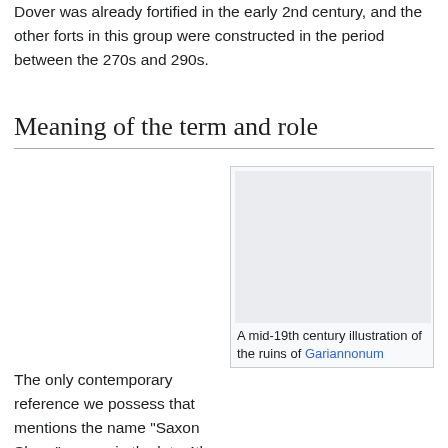Dover was already fortified in the early 2nd century, and the other forts in this group were constructed in the period between the 270s and 290s.
Meaning of the term and role
The only contemporary reference we possess that mentions the name "Saxon Shore" comes in the late 4th century Notitia Dignitatum, which lists its commander, the Comes Litoris Saxonici per Britanniam ("Count of the Saxon Shore in Britain"), and gives the names of the sites under his command and their respective complements of military personnel.[1] However, due to the absence of further evidence, theories have varied between scholars as to the exact meaning of the name, and also the nature
[Figure (illustration): A mid-19th century illustration of the ruins of Gariannonum - shown as a grey rectangular placeholder image]
A mid-19th century illustration of the ruins of Gariannonum